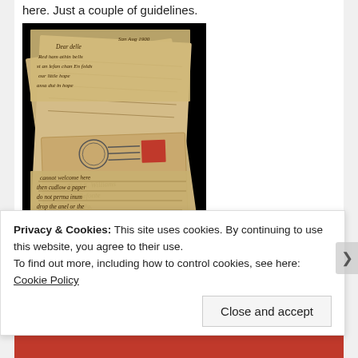here.  Just a couple of guidelines.
[Figure (photo): A stack of old handwritten letters and an envelope with a postage stamp on a black background.]
What would you tell yourself if you could go back in time and
Privacy & Cookies: This site uses cookies. By continuing to use this website, you agree to their use.
To find out more, including how to control cookies, see here: Cookie Policy
Close and accept